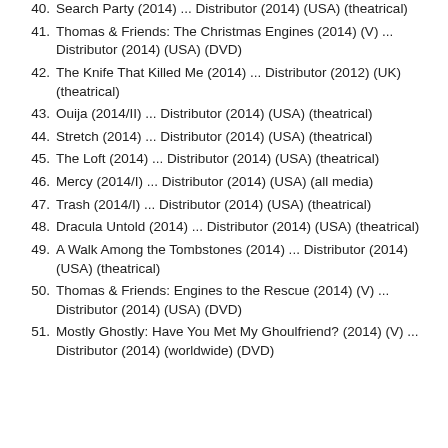Search Party (2014) ... Distributor (2014) (USA) (theatrical)
Thomas & Friends: The Christmas Engines (2014) (V) ... Distributor (2014) (USA) (DVD)
The Knife That Killed Me (2014) ... Distributor (2012) (UK) (theatrical)
Ouija (2014/II) ... Distributor (2014) (USA) (theatrical)
Stretch (2014) ... Distributor (2014) (USA) (theatrical)
The Loft (2014) ... Distributor (2014) (USA) (theatrical)
Mercy (2014/I) ... Distributor (2014) (USA) (all media)
Trash (2014/I) ... Distributor (2014) (USA) (theatrical)
Dracula Untold (2014) ... Distributor (2014) (USA) (theatrical)
A Walk Among the Tombstones (2014) ... Distributor (2014) (USA) (theatrical)
Thomas & Friends: Engines to the Rescue (2014) (V) ... Distributor (2014) (USA) (DVD)
Mostly Ghostly: Have You Met My Ghoulfriend? (2014) (V) ... Distributor (2014) (worldwide) (DVD)